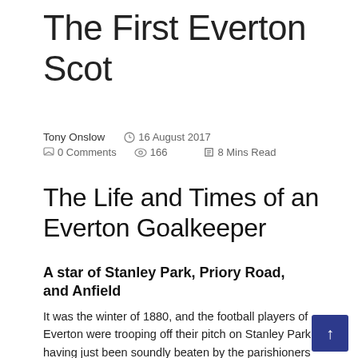The First Everton Scot
Tony Onslow   16 August 2017   0 Comments   166   8 Mins Read
The Life and Times of an Everton Goalkeeper
A star of Stanley Park, Priory Road, and Anfield
It was the winter of 1880, and the football players of Everton were trooping off their pitch on Stanley Park having just been soundly beaten by the parishioners of St John's Church in Bootle. Later that year they were